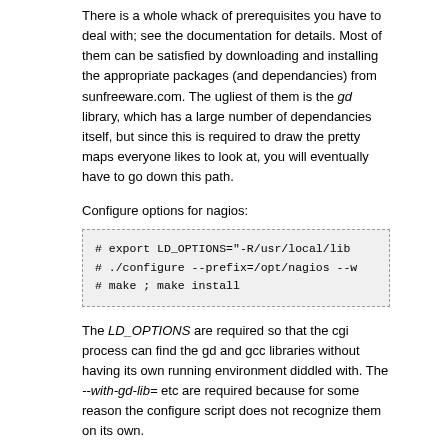There is a whole whack of prerequisites you have to deal with; see the documentation for details. Most of them can be satisfied by downloading and installing the appropriate packages (and dependancies) from sunfreeware.com. The ugliest of them is the gd library, which has a large number of dependancies itself, but since this is required to draw the pretty maps everyone likes to look at, you will eventually have to go down this path.
Configure options for nagios:
# export LD_OPTIONS="-R/usr/local/lib
# ./configure --prefix=/opt/nagios --w
# make ; make install
The LD_OPTIONS are required so that the cgi process can find the gd and gcc libraries without having its own running environment diddled with. The --with-gd-lib= etc are required because for some reason the configure script does not recognize them on its own.
Configure options for nagios plugins:
# ./configure --prefix=/opt/nagios